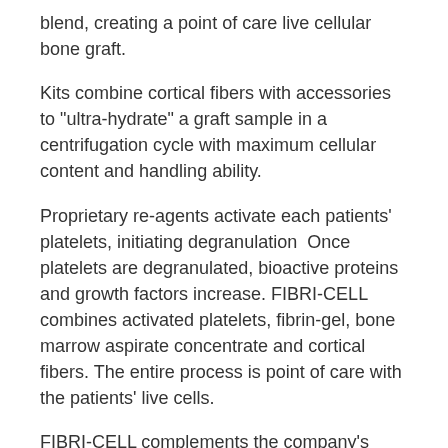blend, creating a point of care live cellular bone graft.
Kits combine cortical fibers with accessories to "ultra-hydrate" a graft sample in a centrifugation cycle with maximum cellular content and handling ability.
Proprietary re-agents activate each patients' platelets, initiating degranulation  Once platelets are degranulated, bioactive proteins and growth factors increase. FIBRI-CELL combines activated platelets, fibrin-gel, bone marrow aspirate concentrate and cortical fibers. The entire process is point of care with the patients' live cells.
FIBRI-CELL complements the company's FIBRINET™ Platelet-Rich Fibrin Matrix, acquired earlier this year from Vertical Spine. FIBRINET creates a platelet-rich fibrin membrane from a patient's autologous blood.